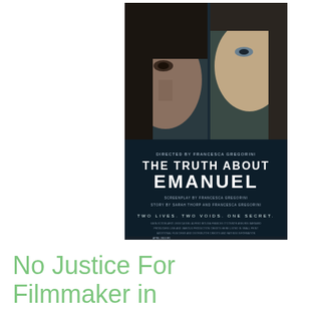[Figure (photo): Movie poster for 'The Truth About Emanuel', directed by Francesca Gregorini. Shows two women's faces in dark, moody lighting. Text reads: DIRECTED BY FRANCESCA GREGORINI / THE TRUTH ABOUT EMANUEL / SCREENPLAY BY FRANCESCA GREGORINI / STORY BY SARAH THORP AND FRANCESCA GREGORINI / TWO LIVES. TWO VOIDS. ONE SECRET.]
No Justice For Filmmaker in